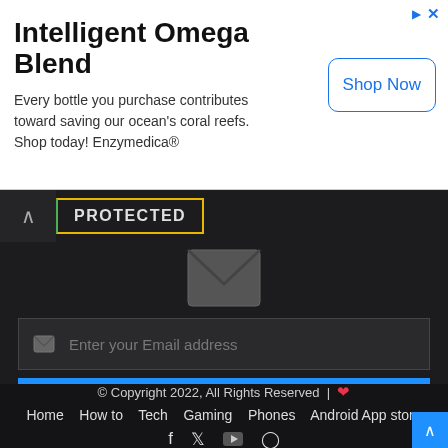[Figure (screenshot): Advertisement banner for Intelligent Omega Blend by Enzymedica with Shop Now button]
[Figure (screenshot): Dark web UI section with PROTECTED badge, email subscription form, footer with copyright and navigation links]